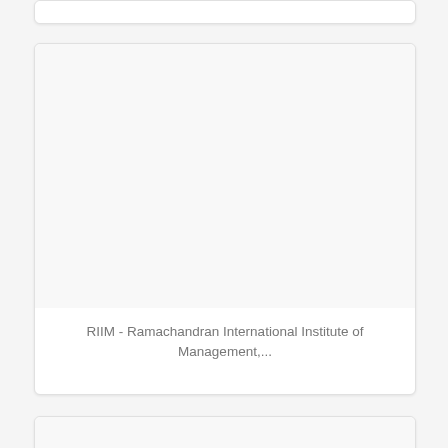[Figure (other): Top card image area (partially visible, cropped at top of page)]
RIIM - Ramachandran International Institute of Management,...
[Figure (other): Second card image area (large empty/white image placeholder)]
ISMS Pune - International School of Management Studies Pune
[Figure (other): Third card (partially visible at bottom of page)]